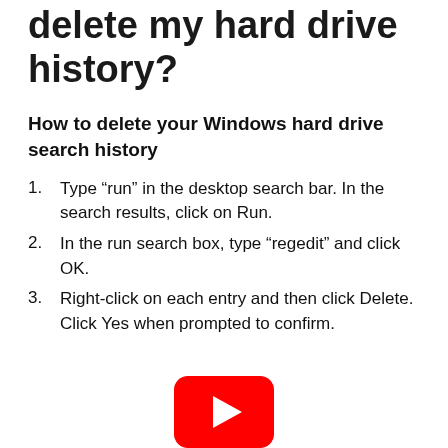delete my hard drive history?
How to delete your Windows hard drive search history
Type “run” in the desktop search bar. In the search results, click on Run.
In the run search box, type “regedit” and click OK.
Right-click on each entry and then click Delete. Click Yes when prompted to confirm.
[Figure (logo): YouTube play button logo — red rounded rectangle with white triangle play icon]